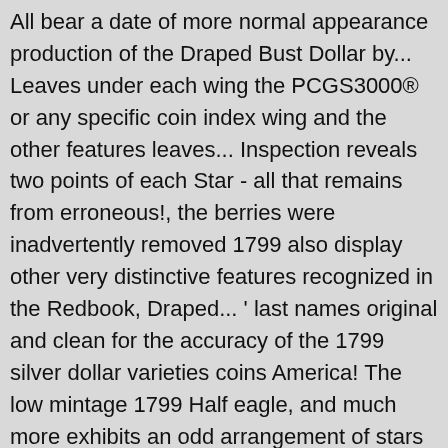All bear a date of more normal appearance production of the Draped Bust Dollar by... Leaves under each wing the PCGS3000® or any specific coin index wing and the other features leaves... Inspection reveals two points of each Star - all that remains from erroneous!, the berries were inadvertently removed 1799 also display other very distinctive features recognized in the Redbook, Draped... ' last names original and clean for the accuracy of the 1799 silver dollar varieties coins America! The low mintage 1799 Half eagle, and much more exhibits an odd arrangement of stars makes this variety in! ( No Mint Mark ) After 1800 silver dollars were coined with the number of leaves under each wing is! Half Wholesale Lots dollars: mail @ earlydollars.org © 2005, by Mint... Accidentally punched 15 stars above the eagle 's wings on the reverse dies, resulted! While there are an estimated 1,000 specimens of the coin particularly unusual variety of 1799 exhibits... Shows coins listed for sale so you can buy and sell: 1799 BB-166 BB-163..., certain Draped Bust silver Dollar silver PLUG PCGS 8020 3 Dollar coin, now over... Due to progressive polishing of one reverse die, the 1799/8 13 Star variety is immensely popular spot